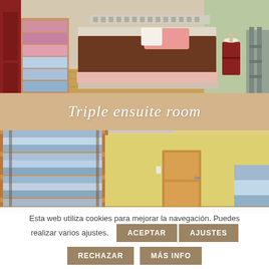[Figure (photo): Bedroom photo showing a bed with brown and pink bedding, wooden floor, red furniture pieces including wardrobe and nightstand, with stacked linens on a metal rack on the left side.]
Triple ensuite room
[Figure (photo): Hotel/hostel room photo showing shelving units with folded linens and blue blankets on metal racks, a wooden door, yellow walls, and air conditioning unit on the ceiling.]
Esta web utiliza cookies para mejorar la navegación. Puedes realizar varios ajustes.
ACEPTAR
AJUSTES
RECHAZAR
MÁS INFO